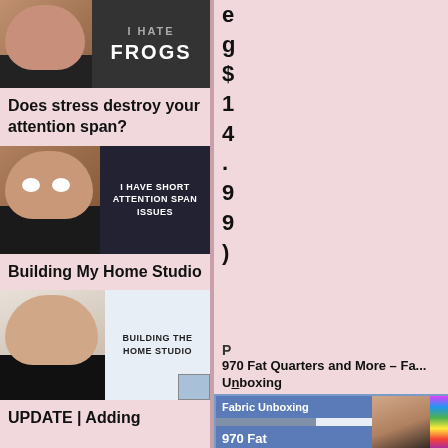[Figure (screenshot): Video thumbnail: man with text 'I HATE FROGS' on dark background]
Does stress destroy your attention span?
[Figure (screenshot): Video thumbnail: man with wide eyes, text 'I HAVE SHORT ATTENTION SPAN ISSUES']
Building My Home Studio
[Figure (screenshot): Video thumbnail: bald man, text 'BUILDING THE HOME STUDIO']
UPDATE | Adding
e
g
$
1
4
.
9
9
)
P
970 Fat Quarters and More – Fa... Unboxing
[Figure (screenshot): Video thumbnail: woman holding fabric, text 'Fabric Unboxing 970 Fat Quarters']